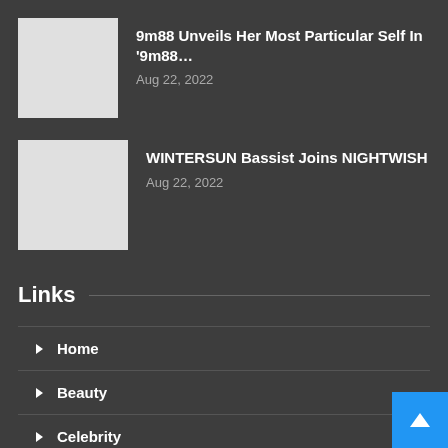[Figure (photo): Light grey placeholder thumbnail image]
9m88 Unveils Her Most Particular Self In '9m88…
Aug 22, 2022
[Figure (photo): Light grey placeholder thumbnail image]
WINTERSUN Bassist Joins NIGHTWISH
Aug 22, 2022
Links
Home
Beauty
Celebrity
Culture
Fashion